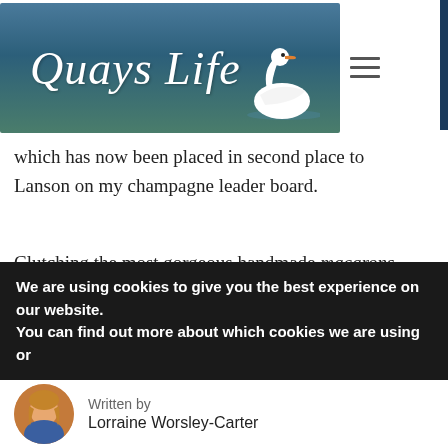[Figure (logo): Quays Life website logo: cursive white text 'Quays Life' on a blue-green water background with a white swan on the right.]
which has now been placed in second place to Lanson on my champagne leader board.
Clutching the most gorgeous handmade macarons from one of the many patisseries in Epernay, we boarded our Champagne-Ardennes train back to Reims, the champagne capital. The Kings of France who were crowned at the Cathedral of Notre Dame de Reims knew a thing
We are using cookies to give you the best experience on our website.
You can find out more about which cookies we are using or
Written by
Lorraine Worsley-Carter